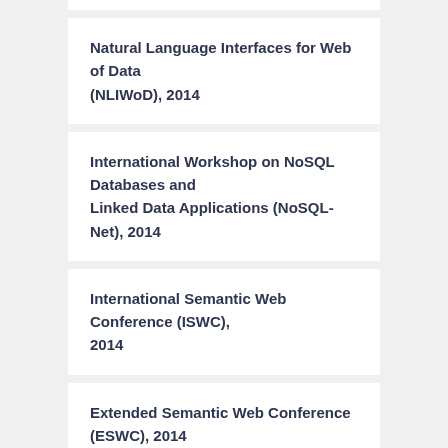Natural Language Interfaces for Web of Data (NLIWoD), 2014
International Workshop on NoSQL Databases and Linked Data Applications (NoSQL-Net), 2014
International Semantic Web Conference (ISWC), 2014
Extended Semantic Web Conference (ESWC), 2014
International Conference on Knowledge Capture (K-Cap), 2013